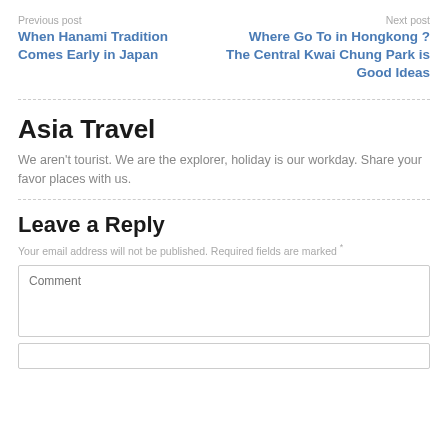Previous post
When Hanami Tradition Comes Early in Japan
Next post
Where Go To in Hongkong ? The Central Kwai Chung Park is Good Ideas
Asia Travel
We aren't tourist. We are the explorer, holiday is our workday. Share your favor places with us.
Leave a Reply
Your email address will not be published. Required fields are marked *
Comment